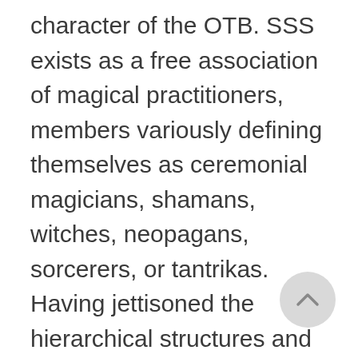character of the OTB. SSS exists as a free association of magical practitioners, members variously defining themselves as ceremonial magicians, shamans, witches, neopagans, sorcerers, or tantrikas. Having jettisoned the hierarchical structures and degree systems of what is considered the Old Aeon, the magicians of the SSS come together for mutual sharing, learning, and networking. There are no leaders, no holy books, and no formal initiations;